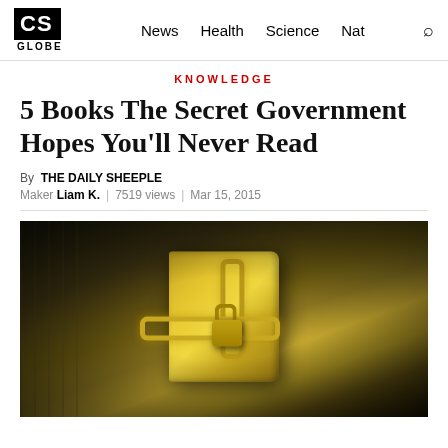CS GLOBE | News | Health | Science | Nat
KNOWLEDGE
5 Books The Secret Government Hopes You'll Never Read
By THE DAILY SHEEPLE
Maker Liam K. | 7519 views | Mar 15, 2015
[Figure (photo): A golden book wrapped in heavy chains and secured with a padlock, photographed against a dark background with chain-link fence texture]